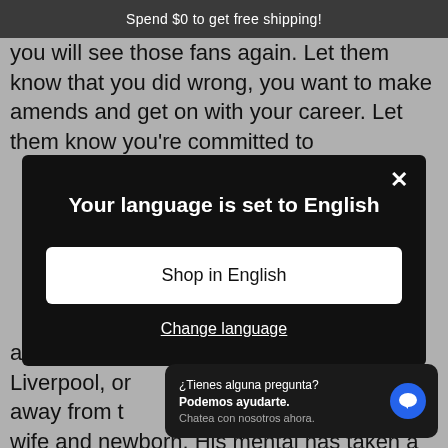Spend $0 to get free shipping!
you will see those fans again. Let them know that you did wrong, you want to make amends and get on with your career. Let them know you're committed to
[Figure (screenshot): Modal dialog on dark background with title 'Your language is set to English', a white button 'Shop in English', and a link 'Change language'. A close (X) button is in the top right corner.]
away from th... against Liverpool, or... Cup. Step away from th... time with your wife and newborn. His mental has taken a
[Figure (screenshot): Chat popup widget in Spanish: '¿Tienes alguna pregunta? Podemos ayudarte. Chatea con nosotros ahora.' with a blue chat icon button.]